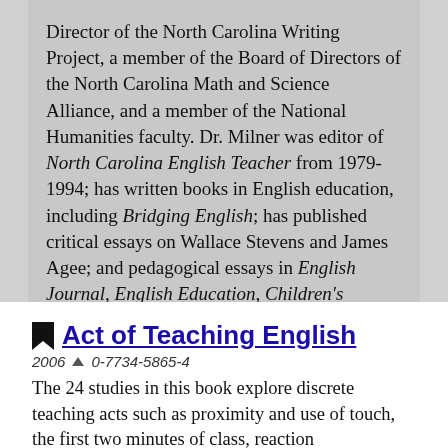Director of the North Carolina Writing Project, a member of the Board of Directors of the North Carolina Math and Science Alliance, and a member of the National Humanities faculty. Dr. Milner was editor of North Carolina English Teacher from 1979-1994; has written books in English education, including Bridging English; has published critical essays on Wallace Stevens and James Agee; and pedagogical essays in English Journal, English Education, Children's Literature, and other journals.
Act of Teaching English
2006 0-7734-5865-4
The 24 studies in this book explore discrete teaching acts such as proximity and use of touch, the first two minutes of class, reaction